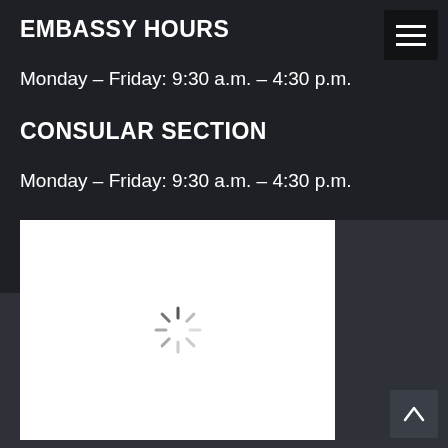EMBASSY HOURS
Monday – Friday: 9:30 a.m. – 4:30 p.m.
CONSULAR SECTION
Monday – Friday: 9:30 a.m. – 4:30 p.m.
[Figure (map): Embedded map area showing a loading spinner, indicating a map is loading. White background with a circular loading indicator in the center.]